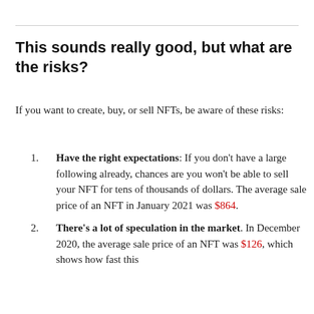This sounds really good, but what are the risks?
If you want to create, buy, or sell NFTs, be aware of these risks:
Have the right expectations: If you don't have a large following already, chances are you won't be able to sell your NFT for tens of thousands of dollars. The average sale price of an NFT in January 2021 was $864.
There's a lot of speculation in the market. In December 2020, the average sale price of an NFT was $126, which shows how fast this